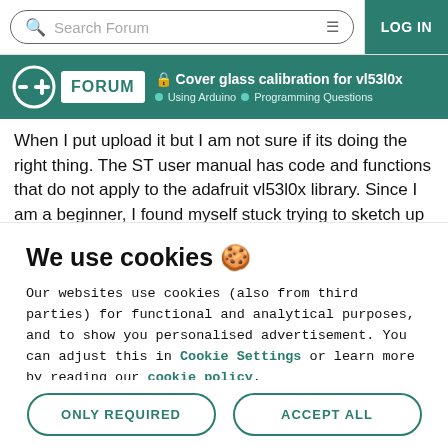Search Forum | LOG IN
Cover glass calibration for vl53l0x — Using Arduino > Programming Questions
When I put upload it but I am not sure if its doing the right thing. The ST user manual has code and functions that do not apply to the adafruit vl53l0x library. Since I am a beginner, I found myself stuck trying to sketch up some calibration code for the sensor. For the sensor firmware update to start...
We use cookies 🍪
Our websites use cookies (also from third parties) for functional and analytical purposes, and to show you personalised advertisement. You can adjust this in Cookie Settings or learn more by reading our cookie policy.
ONLY REQUIRED | ACCEPT ALL